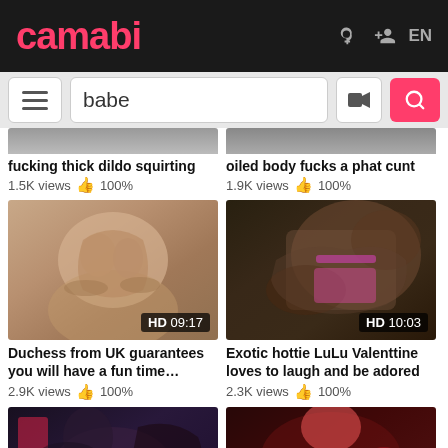camabi — EN
babe (search query)
fucking thick dildo squirting
1.5K views 👍 100%
oiled body fucks a phat cunt
1.9K views 👍 100%
[Figure (photo): Video thumbnail: woman, HD 09:17]
[Figure (photo): Video thumbnail: close-up, HD 10:03]
Duchess from UK guarantees you will have a fun time…
2.9K views 👍 100%
Exotic hottie LuLu Valenttine loves to laugh and be adored
2.3K views 👍 100%
[Figure (photo): Video thumbnail: bottom row left]
[Figure (photo): Video thumbnail: bottom row right]